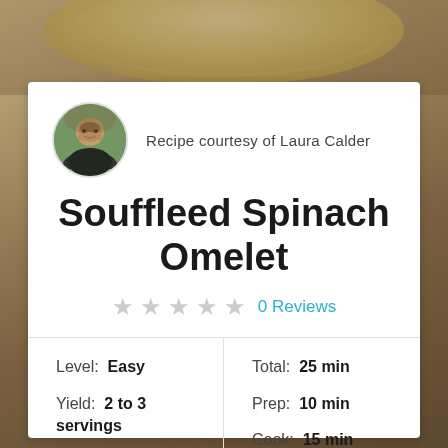[Figure (photo): Background photo of a plate/dish on a wooden surface with warm tones]
Recipe courtesy of Laura Calder
Souffleed Spinach Omelet
★★★★★ 0 Reviews
| Level: Easy | Total: 25 min |
| Yield: 2 to 3 servings | Prep: 10 min |
|  | Cook: 15 min |